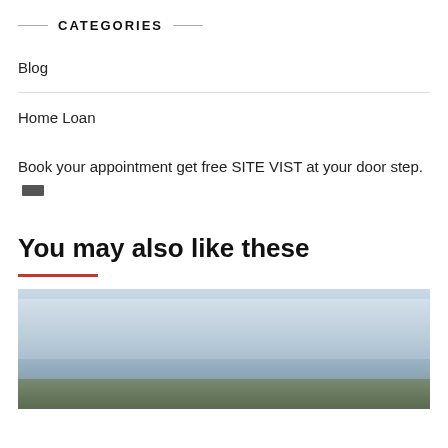CATEGORIES
Blog
Home Loan
Book your appointment get free SITE VIST at your door step.
You may also like these
[Figure (photo): Outdoor landscape photo showing sky with clouds and green ground/field area at bottom]